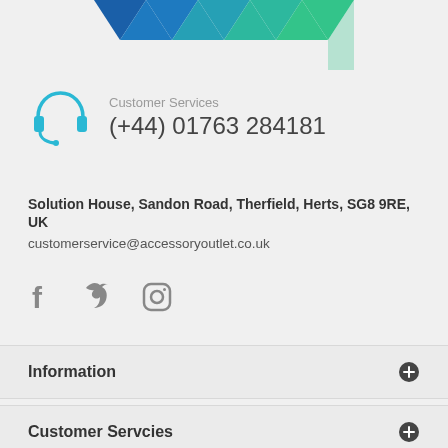[Figure (logo): Blue and teal zigzag/chevron logo at the top of the page]
Customer Services
(+44) 01763 284181
Solution House, Sandon Road, Therfield, Herts, SG8 9RE, UK
customerservice@accessoryoutlet.co.uk
[Figure (illustration): Social media icons: Facebook, Twitter, Instagram]
Information
Customer Servcies